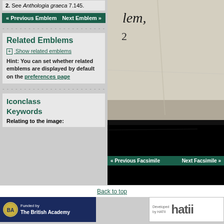2. See Anthologia graeca 7.145.
« Previous Emblem   Next Emblem »
----------------------------
Related Emblems
+ Show related emblems
Hint: You can set whether related emblems are displayed by default on the preferences page
----------------------------
Iconclass Keywords
Relating to the image:
[Figure (photo): Facsimile page scan showing old printed text with 'lem,' and a number 2, on aged paper with dark border at bottom]
« Previous Facsimile   Next Facsimile »
Back to top
[Figure (logo): Funded by The British Academy logo — dark blue background with circular emblem and white text]
[Figure (logo): Developed by HATII logo — white box with HATII text in large gray letters]